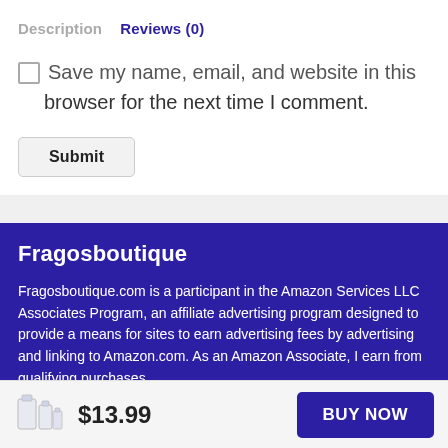Description   Reviews (0)
Save my name, email, and website in this browser for the next time I comment.
Submit
Fragosboutique
Fragosboutique.com is a participant in the Amazon Services LLC Associates Program, an affiliate advertising program designed to provide a means for sites to earn advertising fees by advertising and linking to Amazon.com. As an Amazon Associate, I earn from qualifying purchases.
$13.99
BUY NOW